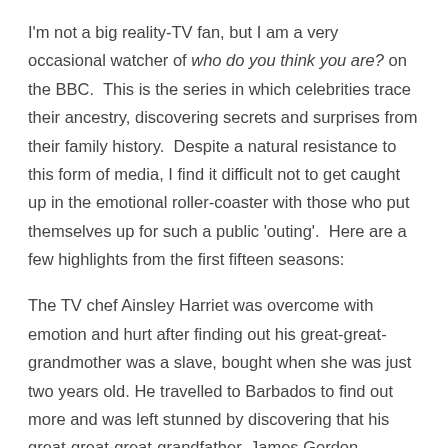I'm not a big reality-TV fan, but I am a very occasional watcher of who do you think you are? on the BBC.  This is the series in which celebrities trace their ancestry, discovering secrets and surprises from their family history.  Despite a natural resistance to this form of media, I find it difficult not to get caught up in the emotional roller-coaster with those who put themselves up for such a public 'outing'.  Here are a few highlights from the first fifteen seasons:
The TV chef Ainsley Harriet was overcome with emotion and hurt after finding out his great-great-grandmother was a slave, bought when she was just two years old. He travelled to Barbados to find out more and was left stunned by discovering that his great-great-great-grandfather, James Gordon Harriott,